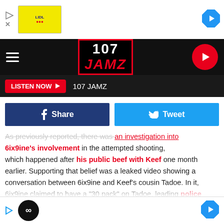[Figure (screenshot): Ad banner at top with Lidl ad image, play icon, and close icon]
[Figure (logo): 107 JAMZ radio station logo with hamburger menu and red play button]
LISTEN NOW ▶  107 JAMZ
[Figure (infographic): Facebook Share and Twitter Tweet social buttons]
As previously reported, there was an investigation into 6ix9ine's involvement in the attempted shooting, which happened after his public beef with Keef one month earlier. Supporting that belief was a leaked video showing a conversation between 6ix9ine and Keef's cousin Tadoe. In it, 6ix9ine claimed to have a "30 pack" on Tadoe, leading police to believe that Tadoe was the original target of the attempted Keef shooting outside of a New York City hotel. "30 Pack" was th
[Figure (infographic): Bottom ad bar with play icon, infinity button, and navigation arrow]